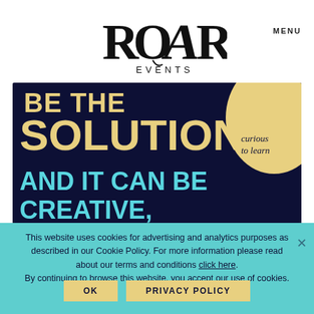[Figure (logo): ROAR EVENTS logo in serif/display typeface with stylized letterforms]
MENU
[Figure (infographic): Dark navy background banner with text: 'BE THE SOLUTION AND IT CAN BE CREATIVE, SEXY AND IMPACTFUL' in bold gold and cyan. A gold circle in the top-right corner reads 'curious to learn'.]
This website uses cookies for advertising and analytics purposes as described in our Cookie Policy. For more information please read about our terms and conditions click here. By continuing to browse this website, you accept our use of cookies.
OK
PRIVACY POLICY